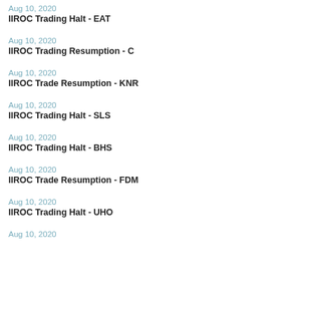Aug 10, 2020
IIROC Trading Halt - EAT
Aug 10, 2020
IIROC Trading Resumption - C
Aug 10, 2020
IIROC Trade Resumption - KNR
Aug 10, 2020
IIROC Trading Halt - SLS
Aug 10, 2020
IIROC Trading Halt - BHS
Aug 10, 2020
IIROC Trade Resumption - FDM
Aug 10, 2020
IIROC Trading Halt - UHO
Aug 10, 2020